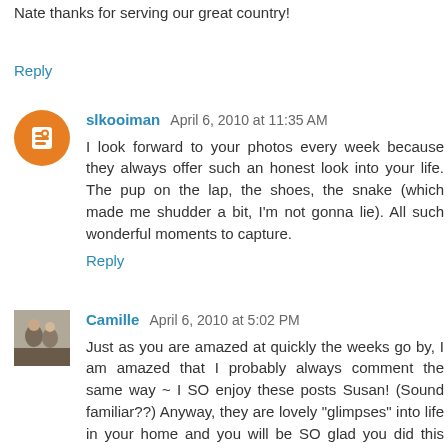my brother is getting ready to deploy in January 2022. Yes, Nate thanks for serving our great country!
Reply
slkooiman  April 6, 2010 at 11:35 AM
I look forward to your photos every week because they always offer such an honest look into your life. The pup on the lap, the shoes, the snake (which made me shudder a bit, I'm not gonna lie). All such wonderful moments to capture.
Reply
Camille  April 6, 2010 at 5:02 PM
Just as you are amazed at quickly the weeks go by, I am amazed that I probably always comment the same way ~ I SO enjoy these posts Susan! (Sound familiar??) Anyway, they are lovely "glimpses" into life in your home and you will be SO glad you did this project!! I am totally inspired to join in too. At the moment we have other things "on the go", but